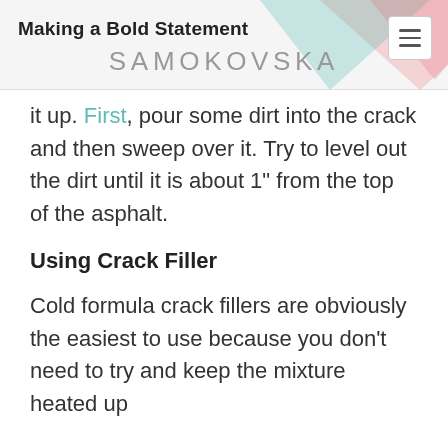Making a Bold Statement SAMOKOVSKA
it up. First, pour some dirt into the crack and then sweep over it. Try to level out the dirt until it is about 1" from the top of the asphalt.
Using Crack Filler
Cold formula crack fillers are obviously the easiest to use because you don't need to try and keep the mixture heated up during the job. About the